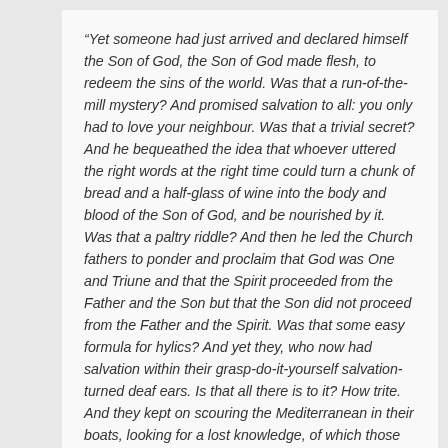“Yet someone had just arrived and declared himself the Son of God, the Son of God made flesh, to redeem the sins of the world. Was that a run-of-the-mill mystery? And promised salvation to all: you only had to love your neighbour. Was that a trivial secret? And he bequeathed the idea that whoever uttered the right words at the right time could turn a chunk of bread and a half-glass of wine into the body and blood of the Son of God, and be nourished by it. Was that a paltry riddle? And then he led the Church fathers to ponder and proclaim that God was One and Triune and that the Spirit proceeded from the Father and the Son but that the Son did not proceed from the Father and the Spirit. Was that some easy formula for hylics? And yet they, who now had salvation within their grasp-do-it-yourself salvation- turned deaf ears. Is that all there is to it? How trite. And they kept on scouring the Mediterranean in their boats, looking for a lost knowledge, of which those thirty-denarii dogmas were but the superficial veil, the parable for the poor in